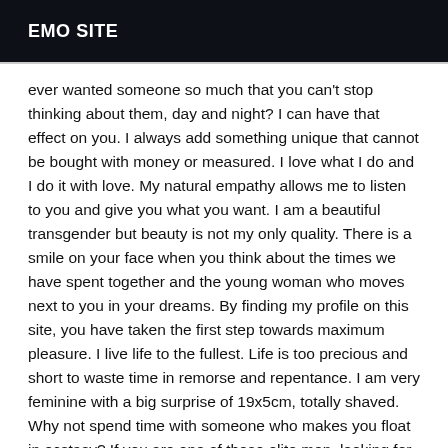EMO SITE
ever wanted someone so much that you can't stop thinking about them, day and night? I can have that effect on you. I always add something unique that cannot be bought with money or measured. I love what I do and I do it with love. My natural empathy allows me to listen to you and give you what you want. I am a beautiful transgender but beauty is not my only quality. There is a smile on your face when you think about the times we have spent together and the young woman who moves next to you in your dreams. By finding my profile on this site, you have taken the first step towards maximum pleasure. I live life to the fullest. Life is too precious and short to waste time in remorse and repentance. I am very feminine with a big surprise of 19x5cm, totally shaved. Why not spend time with someone who makes you float in ecstasy? If you are one of those elite men, looking for a trans and seductive,